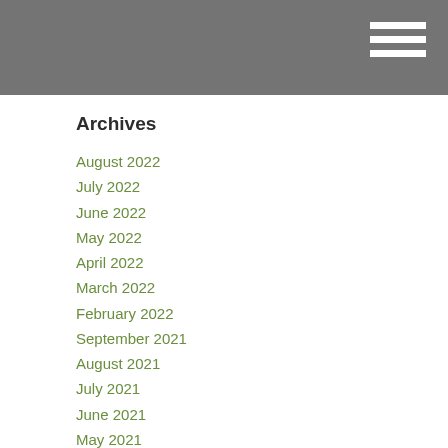Archives
August 2022
July 2022
June 2022
May 2022
April 2022
March 2022
February 2022
September 2021
August 2021
July 2021
June 2021
May 2021
April 2021
March 2021
February 2021
January 2021
November 2020
September 2020
August 2020
July 2020
June 2020
May 2020
April 2020